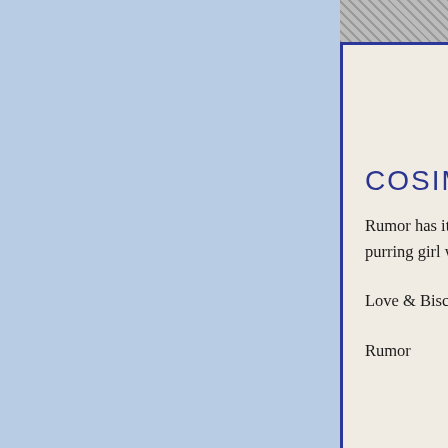COSIMA
Rumor has it, I am a very sweet kitty!! I am loving, ha... purring girl with a secret that I am not telling!
Love & Biscuits,
Rumor
Notes from Home
2nd week anniversary home with Cosima formerly kn... Cosima because of her pretty blue eyes. Cosima is the... universe, cosmos or kosmos. We wanted a pretty "blu...